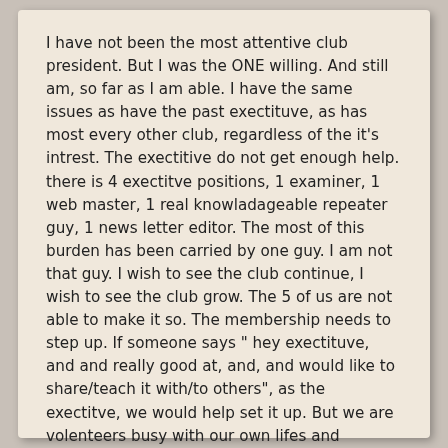I have not been the most attentive club president. But I was the ONE willing. And still am, so far as I am able. I have the same issues as have the past exectituve, as has most every other club, regardless of the it's intrest. The exectitive do not get enough help. there is 4 exectitve positions, 1 examiner, 1 web master, 1 real knowladageable repeater guy, 1 news letter editor. The most of this burden has been carried by one guy. I am not that guy. I wish to see the club continue, I wish to see the club grow. The 5 of us are not able to make it so. The membership needs to step up. If someone says " hey exectituve, and and really good at, and, and would like to share/teach it with/to others", as the exectitve, we would help set it up. But we are volenteers busy with our own lifes and troubles, and other intrests. This spring I signed up for the online advanced course offered by RAC. I got about half way through it, and life got too busy. I hope to attenpt it, or a club advanced course this winter. Self study has't taken me very far.